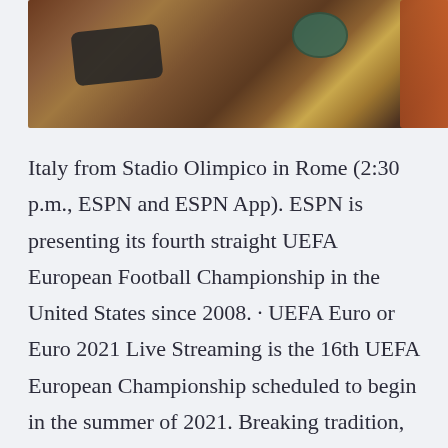[Figure (photo): Photo of a wooden table with a smartphone, a dark bowl/cup, and an orange chair visible at the right edge.]
Italy from Stadio Olimpico in Rome (2:30 p.m., ESPN and ESPN App). ESPN is presenting its fourth straight UEFA European Football Championship in the United States since 2008. · UEFA Euro or Euro 2021 Live Streaming is the 16th UEFA European Championship scheduled to begin in the summer of 2021. Breaking tradition, it will be held in 12 different locations across the continent and will feature 24 teams instead of 16. One of the more intriguing of the European Championships' six groups, Group A has an intriguing blend of a favorite with questions to answer and three teams all of whom will believe that they can advance to